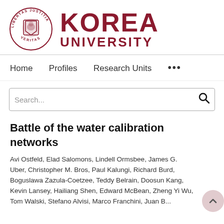[Figure (logo): Korea University logo with circular emblem showing a tiger and Latin text 'LIBERTAS JUSTITIA VERITAS', alongside the text 'KOREA UNIVERSITY' in dark red]
Home   Profiles   Research Units   ...
Search...
Battle of the water calibration networks
Avi Ostfeld, Elad Salomons, Lindell Ormsbee, James G. Uber, Christopher M. Bros, Paul Kalungi, Richard Burd, Boguslawa Zazula-Coetzee, Teddy Belrain, Doosun Kang, Kevin Lansey, Hailiang Shen, Edward McBean, Zheng Yi Wu, Tom Walski, Stefano Alvisi, Marco Franchini, Juan B...